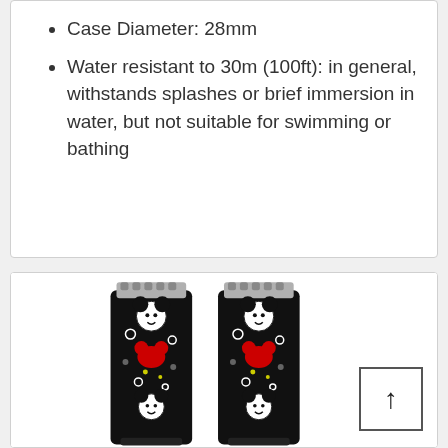Case Diameter: 28mm
Water resistant to 30m (100ft): in general, withstands splashes or brief immersion in water, but not suitable for swimming or bathing
[Figure (photo): Two Mickey Mouse patterned Apple Watch bands side by side on a white background. The bands are black with red, white, and gray Mickey Mouse faces and icons printed on them, with silver connectors at the top.]